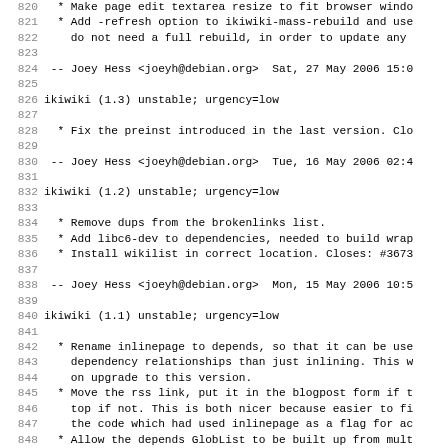Changelog/log lines 820-851 for ikiwiki package
820  * Make page edit textarea resize to fit browser windo
821  * Add -refresh option to ikiwiki-mass-rebuild and use
822     do not need a full rebuild, in order to update any
823
824  -- Joey Hess <joeyh@debian.org>  Sat, 27 May 2006 15:0
825
826 ikiwiki (1.3) unstable; urgency=low
827
828   * Fix the preinst introduced in the last version. Clo
829
830  -- Joey Hess <joeyh@debian.org>  Tue, 16 May 2006 02:4
831
832 ikiwiki (1.2) unstable; urgency=low
833
834   * Remove dups from the brokenlinks list.
835   * Add libc6-dev to dependencies, needed to build wrap
836   * Install wikilist in correct location. Closes: #3673
837
838  -- Joey Hess <joeyh@debian.org>  Mon, 15 May 2006 10:5
839
840 ikiwiki (1.1) unstable; urgency=low
841
842   * Rename inlinepage to depends, so that it can be use
843     dependency relationships than just inlining. This w
844     on upgrade to this version.
845   * Move the rss link, put it in the blogpost form if t
846     top if not. This is both nicer because easier to fi
847     the code which had used inlinepage as a flag for ac
848   * Allow the depends GlobList to be built up from mult
849     plugins) during a page render.
850   * Which means that more than one blog is now supporte
851     single page. (With some limitations, like only the